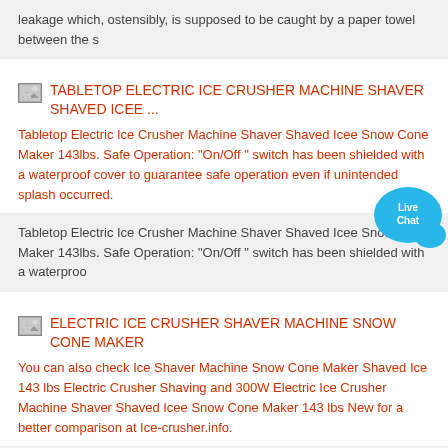leakage which, ostensibly, is supposed to be caught by a paper towel between the s
TABLETOP ELECTRIC ICE CRUSHER MACHINE SHAVER SHAVED ICEE ...
Tabletop Electric Ice Crusher Machine Shaver Shaved Icee Snow Cone Maker 143lbs. Safe Operation: "On/Off " switch has been shielded with a waterproof cover to guarantee safe operation even if unintended splash occurred.
[Figure (other): Live Chat button/widget overlay]
Tabletop Electric Ice Crusher Machine Shaver Shaved Icee Snow Cone Maker 143lbs. Safe Operation: "On/Off " switch has been shielded with a waterproo
ELECTRIC ICE CRUSHER SHAVER MACHINE SNOW CONE MAKER
You can also check Ice Shaver Machine Snow Cone Maker Shaved Ice 143 lbs Electric Crusher Shaving and 300W Electric Ice Crusher Machine Shaver Shaved Icee Snow Cone Maker 143 lbs New for a better comparison at Ice-crusher.info.
You can also check Ice Shaver Machine Snow Cone Maker Shaved Ice 143 lbs Electric Crusher Shaving and 300W Electric Ice Crusher